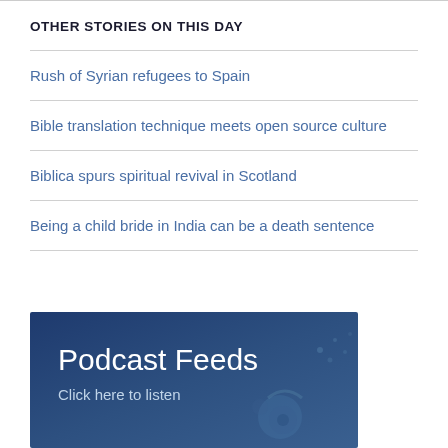OTHER STORIES ON THIS DAY
Rush of Syrian refugees to Spain
Bible translation technique meets open source culture
Biblica spurs spiritual revival in Scotland
Being a child bride in India can be a death sentence
[Figure (other): Podcast Feeds banner with dark blue background showing headphones, text 'Podcast Feeds' and 'Click here to listen']